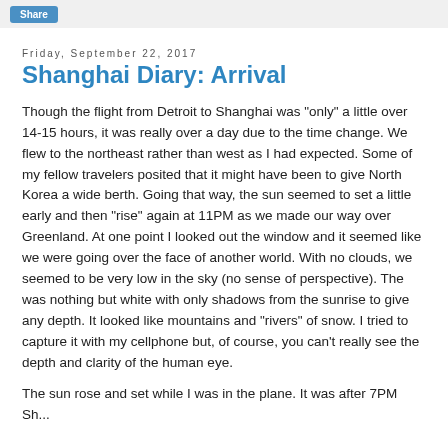Share
Friday, September 22, 2017
Shanghai Diary: Arrival
Though the flight from Detroit to Shanghai was "only" a little over 14-15 hours, it was really over a day due to the time change. We flew to the northeast rather than west as I had expected. Some of my fellow travelers posited that it might have been to give North Korea a wide berth. Going that way, the sun seemed to set a little early and then "rise" again at 11PM as we made our way over Greenland. At one point I looked out the window and it seemed like we were going over the face of another world. With no clouds, we seemed to be very low in the sky (no sense of perspective). The was nothing but white with only shadows from the sunrise to give any depth. It looked like mountains and "rivers" of snow. I tried to capture it with my cellphone but, of course, you can't really see the depth and clarity of the human eye.
The sun rose and set while I was in the plane. It was after 7PM Shanghai time when we finally landed. I had tried to